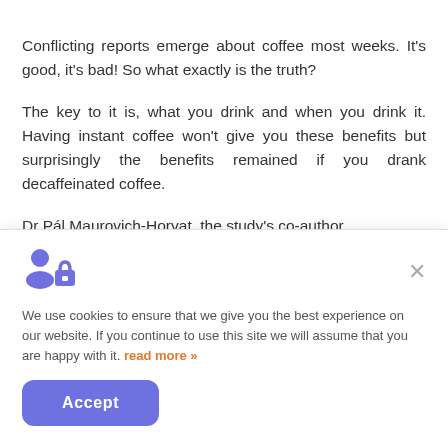Conflicting reports emerge about coffee most weeks. It's good, it's bad! So what exactly is the truth?
The key to it is, what you drink and when you drink it. Having instant coffee won't give you these benefits but surprisingly the benefits remained if you drank decaffeinated coffee.
Dr Pál Maurovich-Horvat, the study's co-author
We use cookies to ensure that we give you the best experience on our website. If you continue to use this site we will assume that you are happy with it. read more »